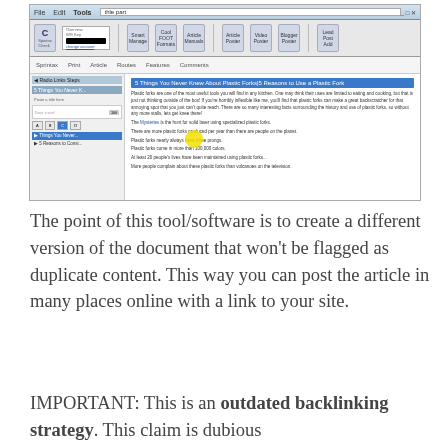[Figure (screenshot): Screenshot of a Windows desktop application showing an article spinner or content rewriting tool. The main content area displays a document titled '5 Things You Never Knew About Plastic Forks | 5 Reasons to Use a Plastic Fork' with body text about plastic forks. A dialog box labeled 'Alternate Spintax' shows a list of article title alternatives with a yellow highlighted selection. A status bar is visible at the bottom.]
The point of this tool/software is to create a different version of the document that won't be flagged as duplicate content. This way you can post the article in many places online with a link to your site.
IMPORTANT: This is an outdated backlinking strategy. This claim is dubious